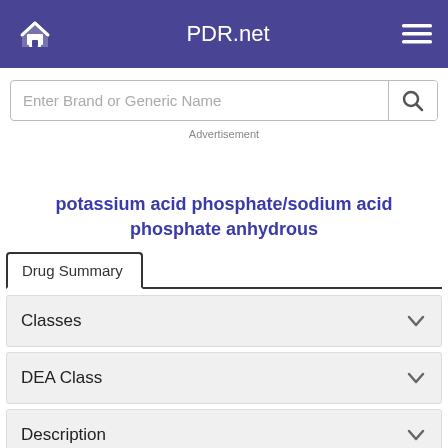PDR.net
Enter Brand or Generic Name
Advertisement
potassium acid phosphate/sodium acid phosphate anhydrous
Drug Summary
Classes
DEA Class
Description
Common Brand Names